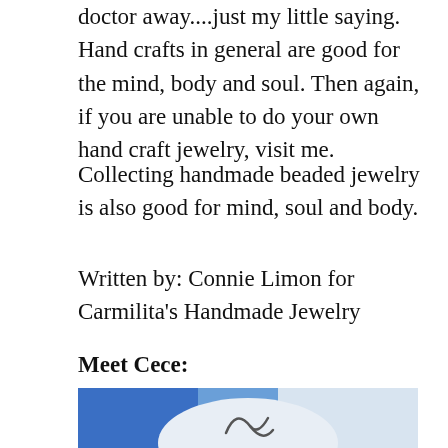doctor away....just my little saying. Hand crafts in general are good for the mind, body and soul. Then again, if you are unable to do your own hand craft jewelry, visit me.
Collecting handmade beaded jewelry is also good for mind, soul and body.
Written by: Connie Limon for Carmilita's Handmade Jewelry
Meet Cece:
[Figure (photo): Photo showing jewelry item on blue and white background, partially cropped at bottom of page]